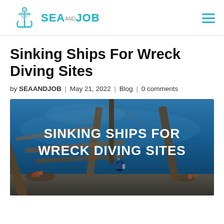SEAANDJOB
Sinking Ships For Wreck Diving Sites
by SEAANDJOB | May 21, 2022 | Blog | 0 comments
[Figure (photo): Underwater wreck diving photo with text overlay 'SINKING SHIPS FOR WRECK DIVING SITES'. Shows a scuba diver exploring a sunken shipwreck with coral and wooden beams visible in blue water.]